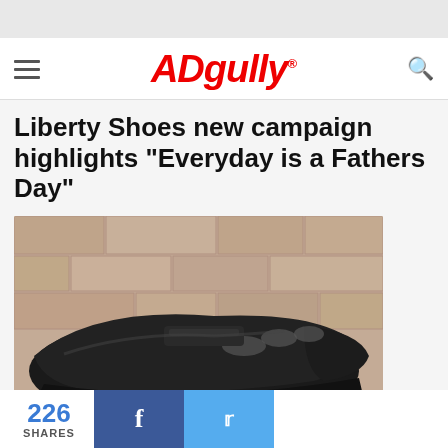ADgully® [navigation header with hamburger menu and search icon]
Liberty Shoes new campaign highlights "Everyday is a Fathers Day"
[Figure (photo): Close-up photo of a black leather shoe/sandal with cutouts against a stone wall background]
226 SHARES [Facebook share button] [Twitter share button]